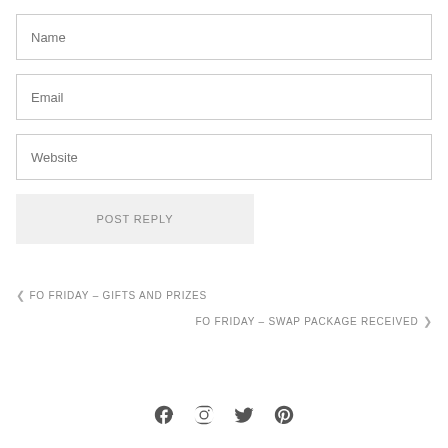Name
Email
Website
POST REPLY
< FO FRIDAY – GIFTS AND PRIZES
FO FRIDAY – SWAP PACKAGE RECEIVED >
[Figure (other): Social media icons: Facebook, Instagram, Twitter, Pinterest]